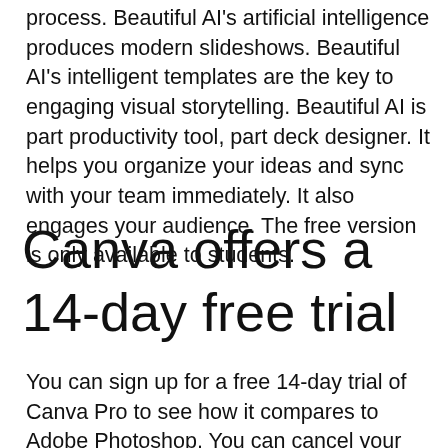process. Beautiful AI's artificial intelligence produces modern slideshows. Beautiful AI's intelligent templates are the key to engaging visual storytelling. Beautiful AI is part productivity tool, part deck designer. It helps you organize your ideas and sync with your team immediately. It also engages your audience. The free version is only available to students.
Canva offers a 14-day free trial
You can sign up for a free 14-day trial of Canva Pro to see how it compares to Adobe Photoshop. You can cancel your subscription at any time. Canva Pro includes a large